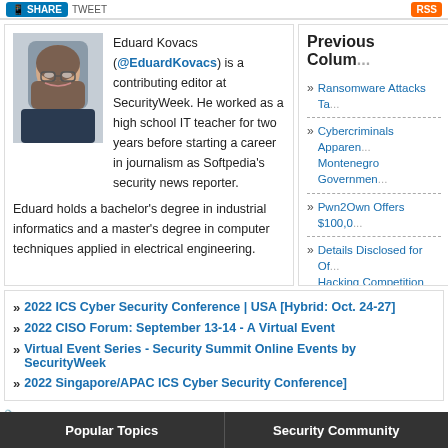[Figure (screenshot): LinkedIn Share button and RSS button in top bar]
[Figure (photo): Headshot photo of Eduard Kovacs, a man with glasses]
Eduard Kovacs (@EduardKovacs) is a contributing editor at SecurityWeek. He worked as a high school IT teacher for two years before starting a career in journalism as Softpedia's security news reporter. Eduard holds a bachelor's degree in industrial informatics and a master's degree in computer techniques applied in electrical engineering.
Previous Colum...
Ransomware Attacks Ta...
Cybercriminals Apparen... Montenegro Governmen...
Pwn2Own Offers $100,0...
Details Disclosed for Of... Hacking Competition
DoorDash Discloses Da... Others
2022 ICS Cyber Security Conference | USA [Hybrid: Oct. 24-27]
2022 CISO Forum: September 13-14 - A Virtual Event
Virtual Event Series - Security Summit Online Events by SecurityWeek
2022 Singapore/APAC ICS Cyber Security Conference]
Tags: NEWS & INDUSTRY  Fraud & Identity Theft  Incident Response  Data Protection  Cybercrime  Management & Strategy
Popular Topics    Security Community